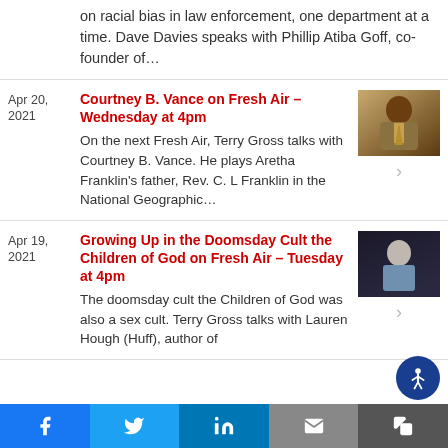on racial bias in law enforcement, one department at a time. Dave Davies speaks with Phillip Atiba Goff, co-founder of...
Apr 20, 2021
Courtney B. Vance on Fresh Air – Wednesday at 4pm
On the next Fresh Air, Terry Gross talks with Courtney B. Vance. He plays Aretha Franklin's father, Rev. C. L Franklin in the National Geographic...
[Figure (photo): Photo of Courtney B. Vance in a suit and tie]
Apr 19, 2021
Growing Up in the Doomsday Cult the Children of God on Fresh Air – Tuesday at 4pm
The doomsday cult the Children of God was also a sex cult. Terry Gross talks with Lauren Hough (Huff), author of
[Figure (photo): Photo of Lauren Hough against a dark background]
Facebook | Twitter | LinkedIn | Email | Share